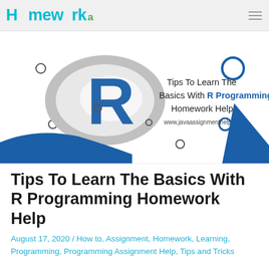Homework Java
[Figure (illustration): R programming logo with gray oval and blue R letter on left. Right side text: 'Tips To Learn The Basics With R Programming Homework Help' and 'www.javaassignmenthelp.com'. Decorative circles and blue wave/triangle shapes around the border.]
Tips To Learn The Basics With R Programming Homework Help
August 17, 2020 / How to, Assignment, Homework, Learning, Programming, Programming Assignment Help, Tips and Tricks